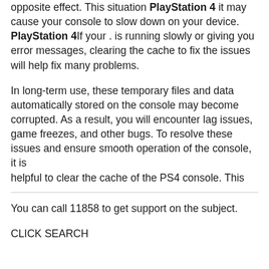opposite effect. This situation PlayStation 4 it may cause your console to slow down on your device. PlayStation 4If your . is running slowly or giving you error messages, clearing the cache to fix the issues will help fix many problems.
In long-term use, these temporary files and data automatically stored on the console may become corrupted. As a result, you will encounter lag issues, game freezes, and other bugs. To resolve these issues and ensure smooth operation of the console, it is helpful to clear the cache of the PS4 console. This
You can call 11858 to get support on the subject.
CLICK SEARCH